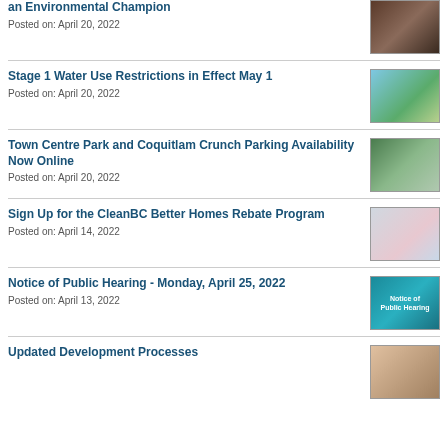an Environmental Champion
Posted on: April 20, 2022
Stage 1 Water Use Restrictions in Effect May 1
Posted on: April 20, 2022
Town Centre Park and Coquitlam Crunch Parking Availability Now Online
Posted on: April 20, 2022
Sign Up for the CleanBC Better Homes Rebate Program
Posted on: April 14, 2022
Notice of Public Hearing - Monday, April 25, 2022
Posted on: April 13, 2022
Updated Development Processes